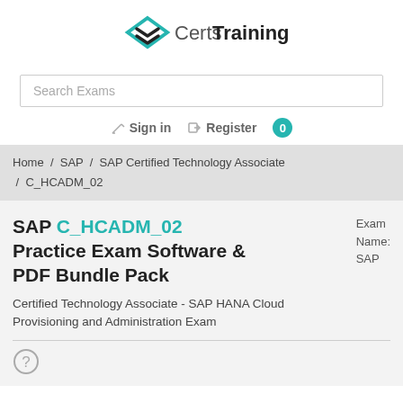[Figure (logo): CertsTraining logo with diamond/chevron icon in teal and black, and text 'Certs Training']
Search Exams
Sign in   Register   0
Home / SAP / SAP Certified Technology Associate / C_HCADM_02
SAP C_HCADM_02 Practice Exam Software & PDF Bundle Pack
Exam Name: SAP
Certified Technology Associate - SAP HANA Cloud Provisioning and Administration Exam